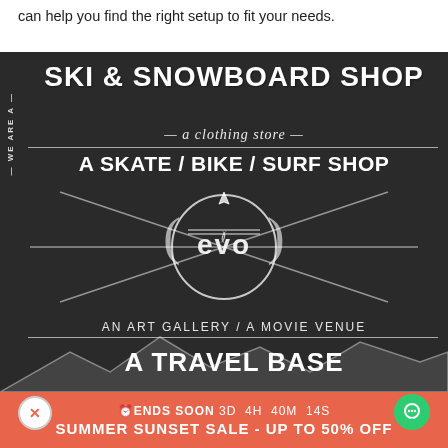can help you find the right setup to fit your needs.
[Figure (photo): Chalkboard sign for 'evo' store describing it as a ski & snowboard shop, a clothing store, a skate/bike/surf shop, an art gallery/movie venue, and a travel base. Features the evo logo in the center with decorative chalk lines and mountain silhouettes at the bottom.]
ENDS SOON 3D  4H  40M  14S
SUMMER SUNSET SALE - UP TO 50% OFF